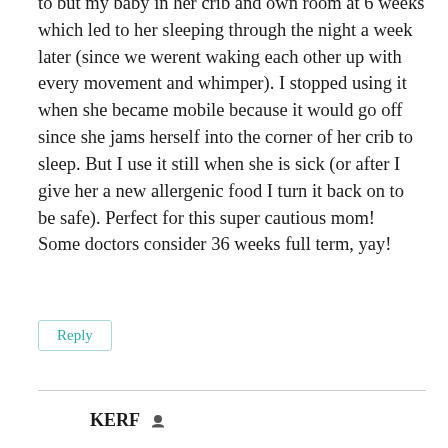to but my baby in her crib and own room at 6 weeks which led to her sleeping through the night a week later (since we werent waking each other up with every movement and whimper). I stopped using it when she became mobile because it would go off since she jams herself into the corner of her crib to sleep. But I use it still when she is sick (or after I give her a new allergenic food I turn it back on to be safe). Perfect for this super cautious mom! Some doctors consider 36 weeks full term, yay!
Reply
KERF